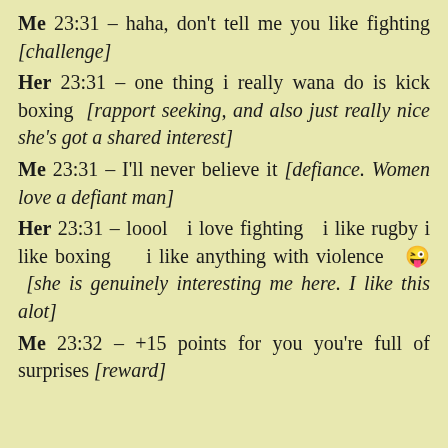Me 23:31 – haha, don't tell me you like fighting [challenge]
Her 23:31 – one thing i really wana do is kick boxing [rapport seeking, and also just really nice she's got a shared interest]
Me 23:31 – I'll never believe it [defiance. Women love a defiant man]
Her 23:31 – loool  i love fighting  i like rugby i like boxing  i like anything with violence 😜 [she is genuinely interesting me here. I like this alot]
Me 23:32 – +15 points for you you're full of surprises [reward]